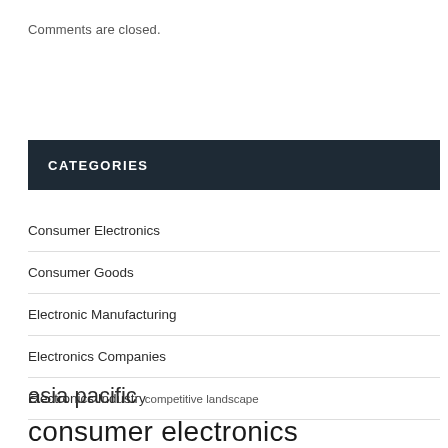Comments are closed.
CATEGORIES
Consumer Electronics
Consumer Goods
Electronic Manufacturing
Electronics Companies
Electronics Industry
asia pacific   competitive landscape
consumer electronics